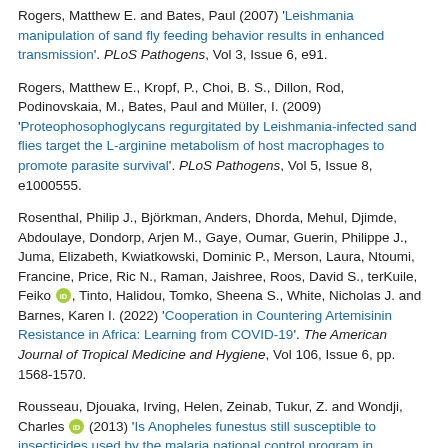Rogers, Matthew E. and Bates, Paul (2007) 'Leishmania manipulation of sand fly feeding behavior results in enhanced transmission'. PLoS Pathogens, Vol 3, Issue 6, e91.
Rogers, Matthew E., Kropf, P., Choi, B. S., Dillon, Rod, Podinovskaia, M., Bates, Paul and Müller, I. (2009) 'Proteophosophoglycans regurgitated by Leishmania-infected sand flies target the L-arginine metabolism of host macrophages to promote parasite survival'. PLoS Pathogens, Vol 5, Issue 8, e1000555.
Rosenthal, Philip J., Björkman, Anders, Dhorda, Mehul, Djimde, Abdoulaye, Dondorp, Arjen M., Gaye, Oumar, Guerin, Philippe J., Juma, Elizabeth, Kwiatkowski, Dominic P., Merson, Laura, Ntoumi, Francine, Price, Ric N., Raman, Jaishree, Roos, David S., terKuile, Feiko [ORCID], Tinto, Halidou, Tomko, Sheena S., White, Nicholas J. and Barnes, Karen I. (2022) 'Cooperation in Countering Artemisinin Resistance in Africa: Learning from COVID-19'. The American Journal of Tropical Medicine and Hygiene, Vol 106, Issue 6, pp. 1568-1570.
Rousseau, Djouaka, Irving, Helen, Zeinab, Tukur, Z. and Wondji, Charles [ORCID] (2013) 'Is Anopheles funestus still susceptible to insecticides used by the malaria national control program in